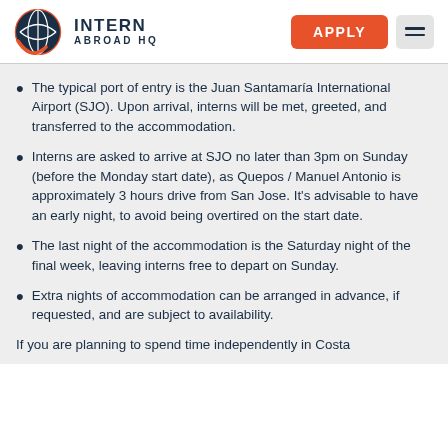INTERN ABROAD HQ
The typical port of entry is the Juan Santamaría International Airport (SJO). Upon arrival, interns will be met, greeted, and transferred to the accommodation.
Interns are asked to arrive at SJO no later than 3pm on Sunday (before the Monday start date), as Quepos / Manuel Antonio is approximately 3 hours drive from San Jose. It's advisable to have an early night, to avoid being overtired on the start date.
The last night of the accommodation is the Saturday night of the final week, leaving interns free to depart on Sunday.
Extra nights of accommodation can be arranged in advance, if requested, and are subject to availability.
If you are planning to spend time independently in Costa